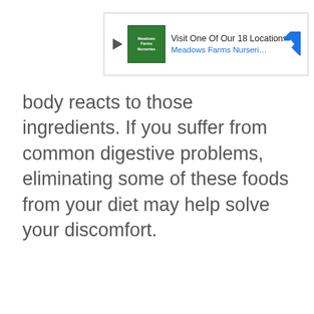[Figure (other): Advertisement banner for Meadows Farms Nurseries and Landscaping showing logo, play button, text 'Visit One Of Our 18 Locations' and a navigation arrow icon]
body reacts to those ingredients. If you suffer from common digestive problems, eliminating some of these foods from your diet may help solve your discomfort.